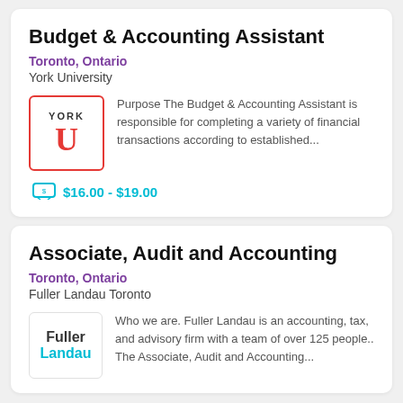Budget & Accounting Assistant
Toronto, Ontario
York University
[Figure (logo): York University logo: red bordered box with 'YORK' text and red block letter U]
Purpose The Budget & Accounting Assistant is responsible for completing a variety of financial transactions according to established...
$16.00 - $19.00
Associate, Audit and Accounting
Toronto, Ontario
Fuller Landau Toronto
[Figure (logo): Fuller Landau logo: grey box with 'Fuller' in dark text and 'Landau' in teal text]
Who we are. Fuller Landau is an accounting, tax, and advisory firm with a team of over 125 people.. The Associate, Audit and Accounting...